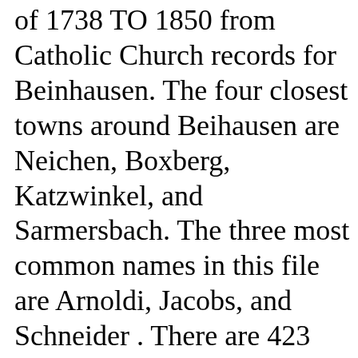of 1738 TO 1850 from Catholic Church records for Beinhausen. The four closest towns around Beihausen are Neichen, Boxberg, Katzwinkel, and Sarmersbach. The three most common names in this file are Arnoldi, Jacobs, and Schneider . There are 423 names in this file. If you want to look at the complete file, click on Beinhausen.